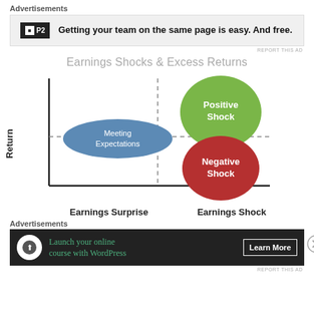Advertisements
[Figure (other): Advertisement banner for P2: 'Getting your team on the same page is easy. And free.']
REPORT THIS AD
Earnings Shocks & Excess Returns
[Figure (other): Scatter/quadrant diagram showing Earnings Shocks and Excess Returns. Y-axis labeled 'Return', X-axis shows 'Earnings Surprise' on left and 'Earnings Shock' on right. A blue ellipse labeled 'Meeting Expectations' sits near the intersection. A green circle labeled 'Positive Shock' is in the upper-right quadrant. A red circle labeled 'Negative Shock' is in the lower-right quadrant. Dashed lines divide the quadrants.]
Earnings Surprise   Earnings Shock
Advertisements
[Figure (other): Advertisement banner (dark background): 'Launch your online course with WordPress' with 'Learn More' button.]
REPORT THIS AD